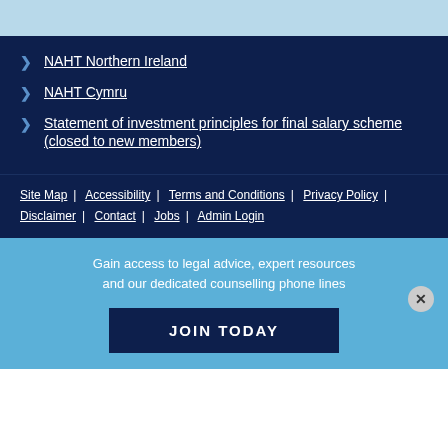NAHT Northern Ireland
NAHT Cymru
Statement of investment principles for final salary scheme (closed to new members)
Site Map | Accessibility | Terms and Conditions | Privacy Policy | Disclaimer | Contact | Jobs | Admin Login
Gain access to legal advice, expert resources and our dedicated counselling phone lines
JOIN TODAY